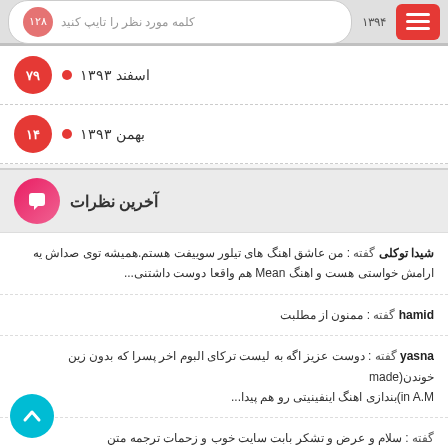کلمه مورد نظر را تایپ کنید | ۱۳۹۴ | ۱۲۸
اسفند ۱۳۹۳ — 79
بهمن ۱۳۹۳ — 14
آخرین نظرات
شیدا توکلی گفته : من عاشق اهنگ های تیلور سوییفت هستم.همیشه توی صداش یه ارامش خواستی هست و اهنگ Mean هم واقعا دوست داشتنی...
hamid گفته : ممنون از مطلبت
yasna گفته : دوست عزیز اگه به لیست ترکای البوم اخر پسرا که بدون زین خوندن(made in A.M)بندازی اهنگ اینفینیتی رو هم پیدا...
گفته : سلام و عرض و تشکر بابت سایت خوب و زحمات ترجمه متن هنوم عالللل ممنون